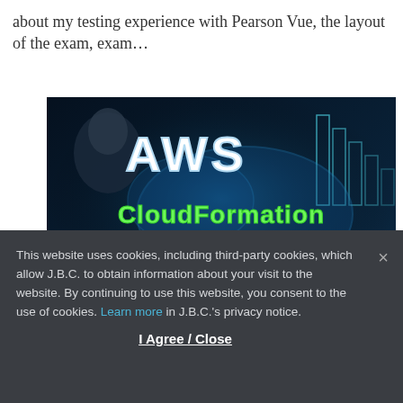about my testing experience with Pearson Vue, the layout of the exam, exam…
[Figure (illustration): Promotional thumbnail image with dark blue background showing a person and large stylized text reading 'AWS CloudFormation BASICS' with glowing neon green and white lettering]
This website uses cookies, including third-party cookies, which allow J.B.C. to obtain information about your visit to the website. By continuing to use this website, you consent to the use of cookies. Learn more in J.B.C.'s privacy notice.
I Agree / Close